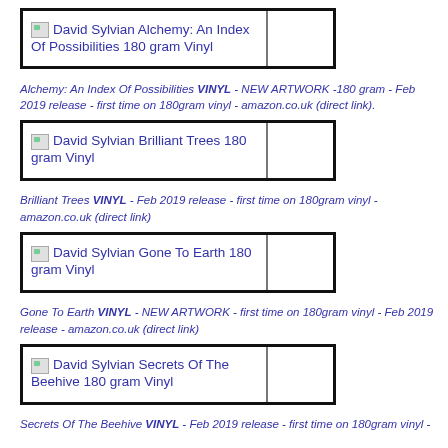[Figure (other): David Sylvian Alchemy: An Index Of Possibilities 180 gram Vinyl product image placeholder with two-column box layout]
Alchemy: An Index Of Possibilities VINYL - NEW ARTWORK -180 gram - Feb 2019 release - first time on 180gram vinyl - amazon.co.uk (direct link).
[Figure (other): David Sylvian Brilliant Trees 180 gram Vinyl product image placeholder with two-column box layout]
Brilliant Trees VINYL - Feb 2019 release - first time on 180gram vinyl - amazon.co.uk (direct link)
[Figure (other): David Sylvian Gone To Earth 180 gram Vinyl product image placeholder with two-column box layout]
Gone To Earth VINYL - NEW ARTWORK - first time on 180gram vinyl - Feb 2019 release - amazon.co.uk (direct link)
[Figure (other): David Sylvian Secrets Of The Beehive 180 gram Vinyl product image placeholder with two-column box layout]
Secrets Of The Beehive VINYL - Feb 2019 release - first time on 180gram vinyl -